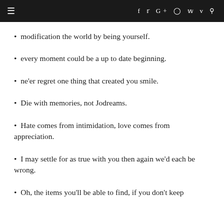≡  f  t  G+  ◻  p  v  🔍
modification the world by being yourself.
every moment could be a up to date beginning.
ne'er regret one thing that created you smile.
Die with memories, not Jodreams.
Hate comes from intimidation, love comes from appreciation.
I may settle for as true with you then again we'd each be wrong.
Oh, the items you'll be able to find, if you don't keep